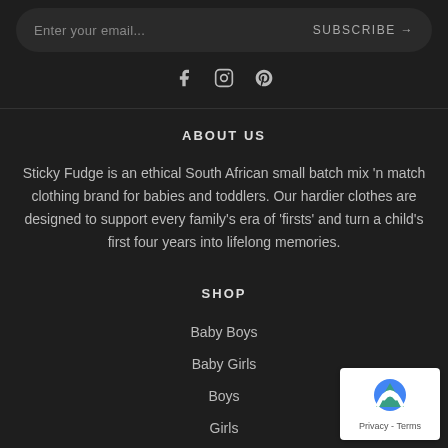Enter your email...
SUBSCRIBE →
[Figure (other): Social media icons: Facebook, Instagram, Pinterest]
ABOUT US
Sticky Fudge is an ethical South African small batch mix 'n match clothing brand for babies and toddlers. Our hardier clothes are designed to support every family's era of 'firsts' and turn a child's first four years into lifelong memories.
SHOP
Baby Boys
Baby Girls
Boys
Girls
[Figure (other): reCAPTCHA badge with logo and Privacy - Terms text]